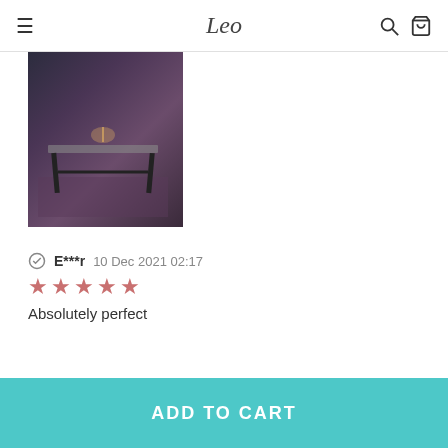Leo
[Figure (photo): A glass-top table with black metal legs photographed in a dimly lit room with candles and a rug visible in the background.]
E***r 10 Dec 2021 02:17 ★★★★★ Absolutely perfect
C***L 20 Nov 2021 01:29 ★★★★★ magnifique
ADD TO CART